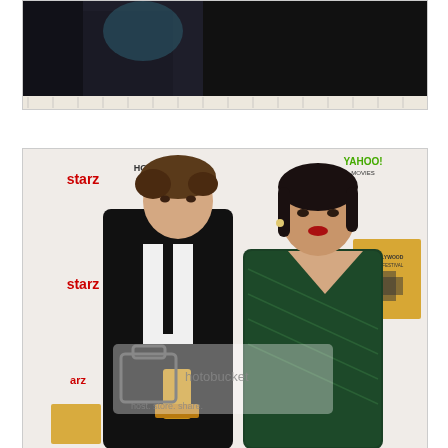[Figure (photo): Top portion of a photo showing people at an event, partially cropped. Dark background with figures visible at top edge.]
[Figure (photo): Robert Pattinson and Camilla Belle posing together at the Hollywood Film Festival. Robert is wearing a black suit with a black tie and holding a gold award trophy. Camilla is wearing a dark green dress. The step-and-repeat backdrop features logos for Hollywood Film Festival, Starz, and Yahoo! Movies. A Photobucket watermark is visible on the image.]